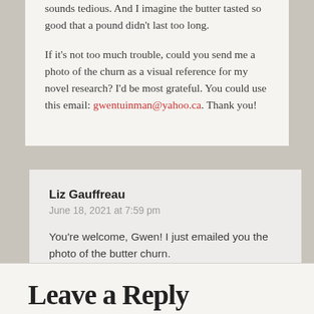sounds tedious. And I imagine the butter tasted so good that a pound didn't last too long.

If it's not too much trouble, could you send me a photo of the churn as a visual reference for my novel research? I'd be most grateful. You could use this email: gwentuinman@yahoo.ca. Thank you!
Liz Gauffreau
June 18, 2021 at 7:59 pm

You're welcome, Gwen! I just emailed you the photo of the butter churn.
Leave a Reply